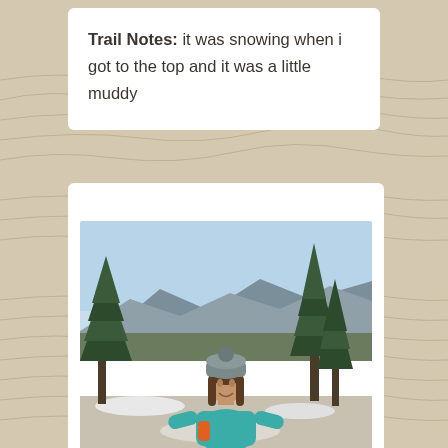Trail Notes: it was snowing when i got to the top and it was a little muddy
[Figure (photo): A hiker (woman) wearing a teal puffer jacket and grey knit beanie smiling at the camera on a mountain summit. Evergreen trees visible on both sides, snow patches on ground, mountain range and valley visible in the background under a clear blue sky.]